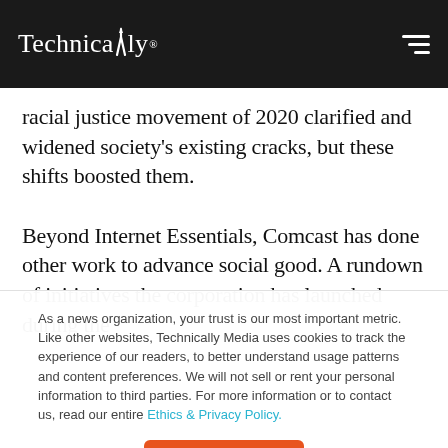Technically
racial justice movement of 2020 clarified and widened society's existing cracks, but these shifts boosted them.
Beyond Internet Essentials, Comcast has done other work to advance social good. A rundown of initiatives the corporation has launched during the
As a news organization, your trust is our most important metric. Like other websites, Technically Media uses cookies to track the experience of our readers, to better understand usage patterns and content preferences. We will not sell or rent your personal information to third parties. For more information or to contact us, read our entire Ethics & Privacy Policy.
Close